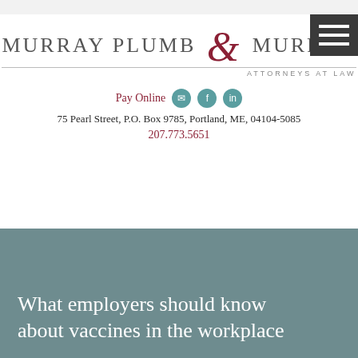[Figure (logo): Murray Plumb & Murray Attorneys at Law logo with stylized ampersand in dark red]
Pay Online
75 Pearl Street, P.O. Box 9785, Portland, ME, 04104-5085
207.773.5651
What employers should know about vaccines in the workplace